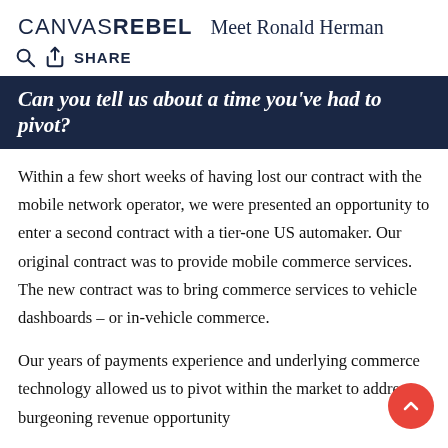CANVASREBEL  Meet Ronald Herman
Can you tell us about a time you've had to pivot?
Within a few short weeks of having lost our contract with the mobile network operator, we were presented an opportunity to enter a second contract with a tier-one US automaker. Our original contract was to provide mobile commerce services. The new contract was to bring commerce services to vehicle dashboards – or in-vehicle commerce.
Our years of payments experience and underlying commerce technology allowed us to pivot within the market to address a burgeoning revenue opportunity